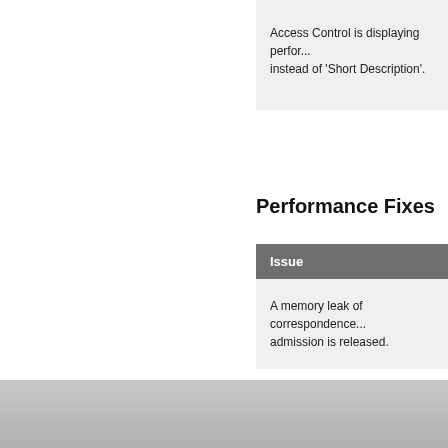Access Control is displaying perfor... instead of 'Short Description'.
Performance Fixes
| Issue |
| --- |
| A memory leak of correspondence... admission is released. |